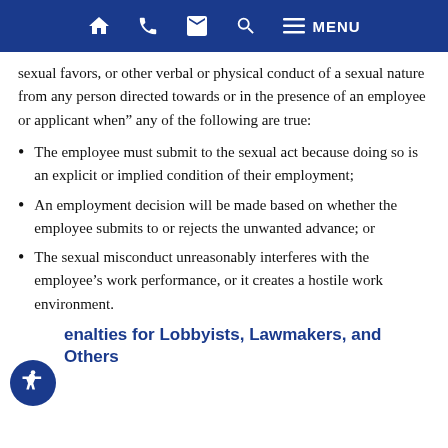Home | Phone | Email | Search | Menu
sexual favors, or other verbal or physical conduct of a sexual nature from any person directed towards or in the presence of an employee or applicant when” any of the following are true:
The employee must submit to the sexual act because doing so is an explicit or implied condition of their employment;
An employment decision will be made based on whether the employee submits to or rejects the unwanted advance; or
The sexual misconduct unreasonably interferes with the employee’s work performance, or it creates a hostile work environment.
Penalties for Lobbyists, Lawmakers, and Others